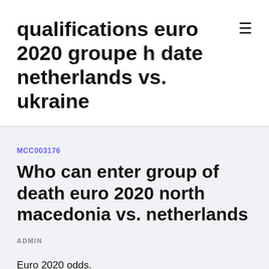qualifications euro 2020 groupe h date netherlands vs. ukraine
MCC003176
Who can enter group of death euro 2020 north macedonia vs. netherlands
ADMIN
Euro 2020 odds.